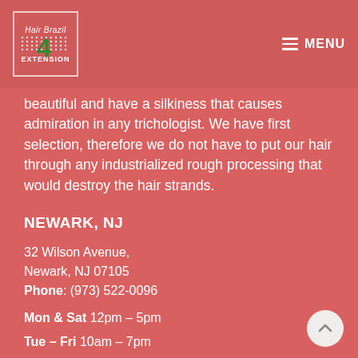[Figure (logo): Hair Brazil 4 Extension logo — white bordered box with dotted lines pattern, green number 4, white text 'Hair Brazil' at top and 'EXTENSION' at bottom]
≡ MENU
beautiful and have a silkiness that causes admiration in any trichologist. We have first selection, therefore we do not have to put our hair through any industrialized rough processing that would destroy the hair strands.
NEWARK, NJ
32 Wilson Avenue,
Newark, NJ 07105
Phone: (973) 522-0096
Mon & Sat 12pm – 5pm
Tue – Fri 10am – 7pm
Sunday Closed